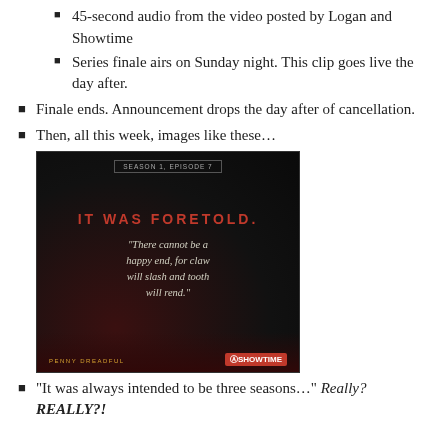45-second audio from the video posted by Logan and Showtime
Series finale airs on Sunday night. This clip goes live the day after.
Finale ends. Announcement drops the day after of cancellation.
Then, all this week, images like these…
[Figure (photo): Dark promotional image for Penny Dreadful (Showtime) showing Season 1, Episode 7 header, red bold text 'IT WAS FORETOLD.' and an italic quote: '"There cannot be a happy end, for claw will slash and tooth will rend."' with Penny Dreadful branding at bottom left and Showtime logo at bottom right.]
"It was always intended to be three seasons…" Really? REALLY?!